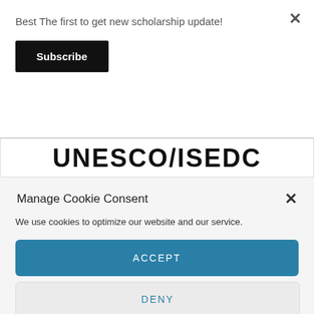Best The first to get new scholarship update!
Subscribe
×
UNESCO/ISEDC
Manage Cookie Consent
×
We use cookies to optimize our website and our service.
ACCEPT
DENY
PREFERENCES
Privacy Policy